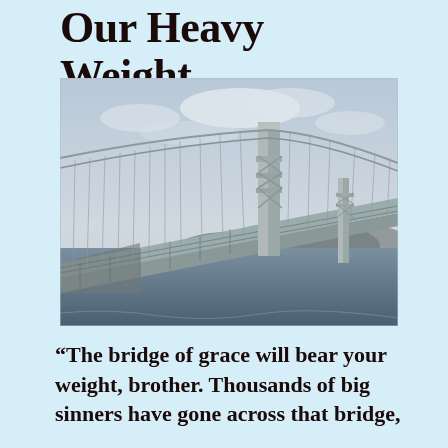Our Heavy Weight
[Figure (photo): Photograph of a large suspension bridge (Akashi Kaikyō Bridge) spanning a body of water, taken from a low angle. The bridge's main tower and cables are visible against a cloudy sky, with hilly land in the background and water in the foreground.]
“The bridge of grace will bear your weight, brother. Thousands of big sinners have gone across that bridge,